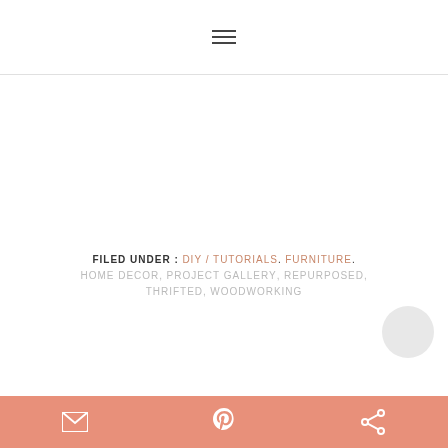≡ (hamburger menu icon)
FILED UNDER: DIY / TUTORIALS. FURNITURE. HOME DECOR, PROJECT GALLERY, REPURPOSED, THRIFTED, WOODWORKING